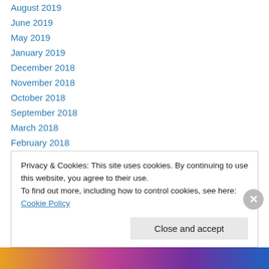August 2019
June 2019
May 2019
January 2019
December 2018
November 2018
October 2018
September 2018
March 2018
February 2018
January 2018
December 2017
November 2017
Privacy & Cookies: This site uses cookies. By continuing to use this website, you agree to their use.
To find out more, including how to control cookies, see here: Cookie Policy
Close and accept